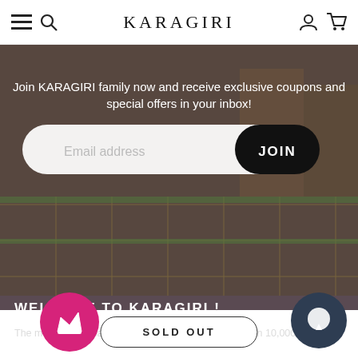KARAGIRI
[Figure (screenshot): Hero background showing a store interior with tiled floor and people, with dark overlay. Contains promotional text, email input field, and JOIN button.]
Join KARAGIRI family now and receive exclusive coupons and special offers in your inbox!
Email address
JOIN
WELCOME TO KARAGIRI !
The most trusted saree store from India! With more than 10,000
SOLD OUT